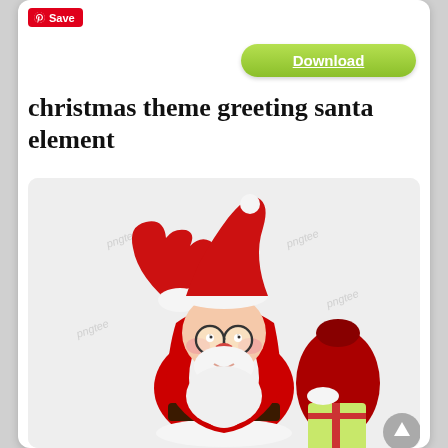[Figure (screenshot): A webpage screenshot showing a Pinterest Save button, a green Download button, a bold title 'christmas theme greeting santa element', and a clipart illustration of Santa Claus waving with a gift bag, on a light gray background with watermarks.]
christmas theme greeting santa element